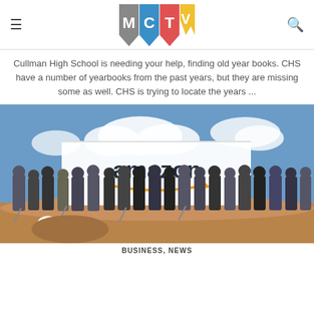MCTV
Cullman High School is needing your help, finding old year books. CHS have a number of yearbooks from the past years, but they are missing some as well. CHS is trying to locate the years ...
[Figure (photo): Group of people holding shovels at a groundbreaking ceremony in front of a large Amazon banner outdoors on a construction site.]
BUSINESS, NEWS